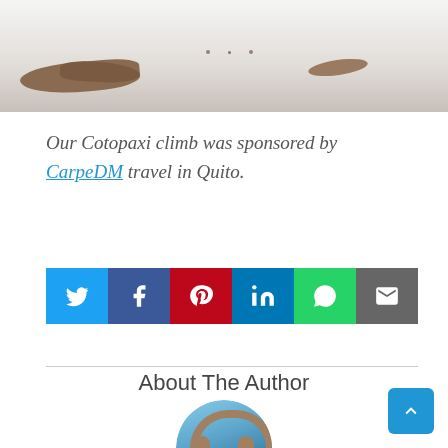[Figure (photo): Partial view of a snowy mountain landscape with dark rocky patches visible, cropped at top of page]
Our Cotopaxi climb was sponsored by CarpeDM travel in Quito.
[Figure (infographic): Social sharing buttons row: Twitter (blue), Facebook (dark blue), Pinterest (red), LinkedIn (teal), WhatsApp (green), Email (grey)]
About The Author
[Figure (photo): Circular author profile photo showing a person standing under a stone arch with sky and water in the background]